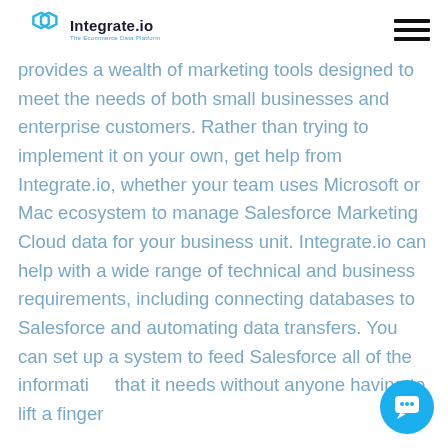Integrate.io — The Ecommerce Data Platform
provides a wealth of marketing tools designed to meet the needs of both small businesses and enterprise customers. Rather than trying to implement it on your own, get help from Integrate.io, whether your team uses Microsoft or Mac ecosystem to manage Salesforce Marketing Cloud data for your business unit. Integrate.io can help with a wide range of technical and business requirements, including connecting databases to Salesforce and automating data transfers. You can set up a system to feed Salesforce all of the information that it needs without anyone having to lift a finger.